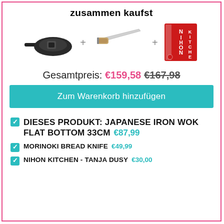zusammen kaufst
[Figure (illustration): Three product images in a row: a black iron wok on the left, a Japanese bread knife with wooden handle in the center, and a red Nihon Kitchen book cover on the right, separated by plus signs]
Gesamtpreis: €159,58 €167,98
Zum Warenkorb hinzufügen
DIESES PRODUKT: JAPANESE IRON WOK FLAT BOTTOM 33CM €87,99
MORINOKI BREAD KNIFE €49,99
NIHON KITCHEN - TANJA DUSY €30,00